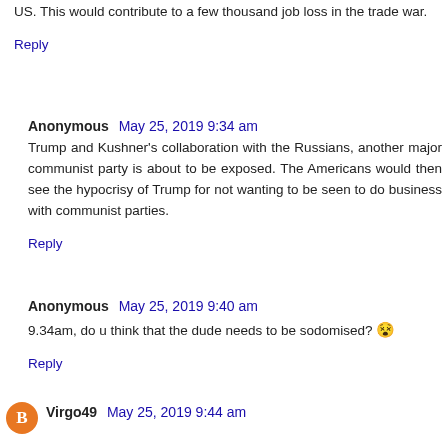US. This would contribute to a few thousand job loss in the trade war.
Reply
Anonymous  May 25, 2019 9:34 am
Trump and Kushner's collaboration with the Russians, another major communist party is about to be exposed. The Americans would then see the hypocrisy of Trump for not wanting to be seen to do business with communist parties.
Reply
Anonymous  May 25, 2019 9:40 am
9.34am, do u think that the dude needs to be sodomised? 😵
Reply
Virgo49  May 25, 2019 9:44 am